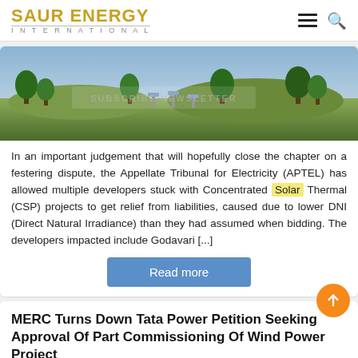SAUR ENERGY INTERNATIONAL
[Figure (photo): Aerial or ground-level photo of a solar/landscape installation with trees and sky, partially overlaid with a 'SUBSCRIBE NEWSLETTER' watermark]
In an important judgement that will hopefully close the chapter on a festering dispute, the Appellate Tribunal for Electricity (APTEL) has allowed multiple developers stuck with Concentrated Solar Thermal (CSP) projects to get relief from liabilities, caused due to lower DNI (Direct Natural Irradiance) than they had assumed when bidding. The developers impacted include Godavari [...]
Read more
MERC Turns Down Tata Power Petition Seeking Approval Of Part Commissioning Of Wind Power Project